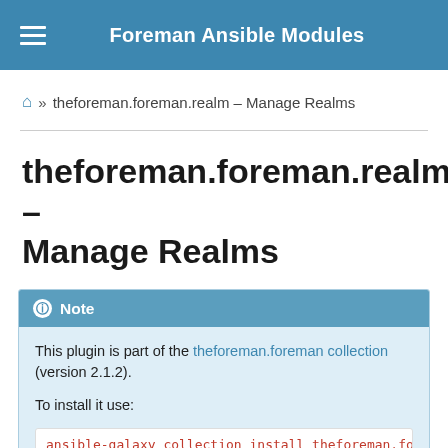Foreman Ansible Modules
» theforeman.foreman.realm – Manage Realms
theforeman.foreman.realm – Manage Realms
Note
This plugin is part of the theforeman.foreman collection (version 2.1.2).
To install it use:
ansible-galaxy collection install theforeman.foreman .